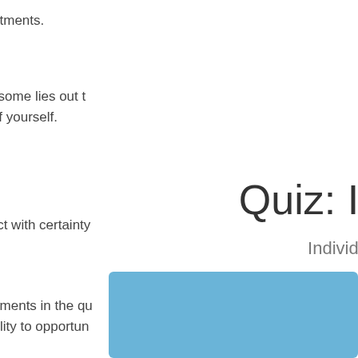maintaining their commitments.
Remember, contrary to some lies out there, it is not necessary to affair-proof yourself.
There's no way to predict with certainty...
Responding to the statements in the quiz can help identify an individual's vulnerability to opportun...
Quiz: In...
Individual...